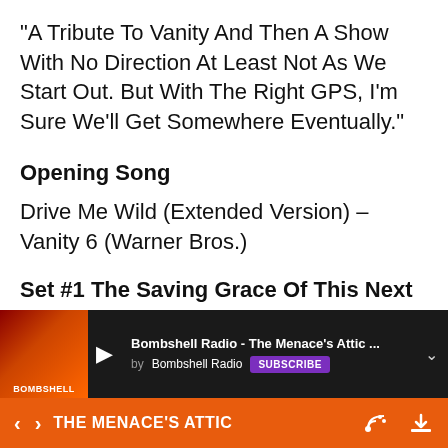“A Tribute To Vanity And Then A Show With No Direction At Least Not As We Start Out. But With The Right GPS, I’m Sure We’ll Get Somewhere Eventually.”
Opening Song
Drive Me Wild (Extended Version) – Vanity 6 (Warner Bros.)
Set #1 The Saving Grace Of This Next Stack Of Songs Is That There’s No Joker
[Figure (screenshot): Media player overlay bar showing Bombshell Radio - The Menace's Attic podcast with play button, thumbnail, subscribe button, and chevron]
THE MENACE’S ATTIC